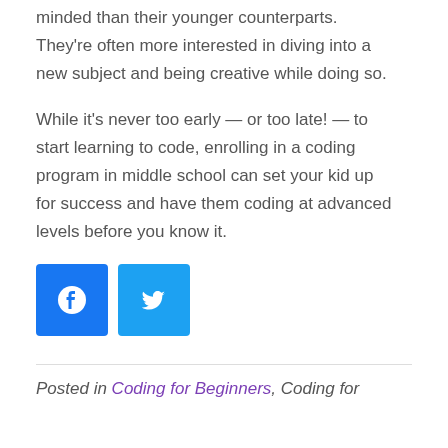minded than their younger counterparts. They're often more interested in diving into a new subject and being creative while doing so.
While it's never too early — or too late! — to start learning to code, enrolling in a coding program in middle school can set your kid up for success and have them coding at advanced levels before you know it.
[Figure (other): Facebook and Twitter social share buttons]
Posted in Coding for Beginners, Coding for